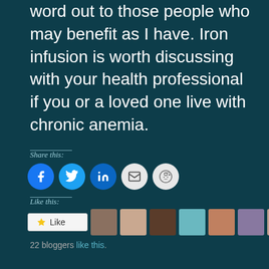word out to those people who may benefit as I have. Iron infusion is worth discussing with your health professional if you or a loved one live with chronic anemia.
Share this:
[Figure (infographic): Social share buttons: Facebook, Twitter, LinkedIn, Email, Reddit]
Like this:
[Figure (infographic): Like button and 7 blogger avatar thumbnails]
22 bloggers like this.